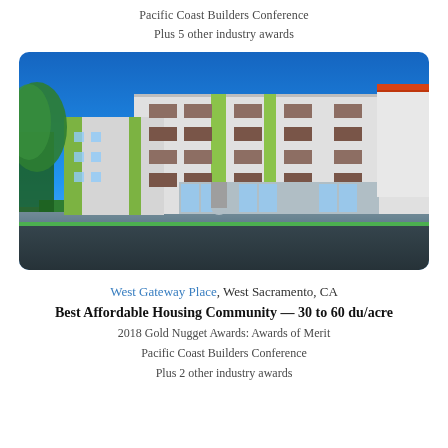Pacific Coast Builders Conference
Plus 5 other industry awards
[Figure (photo): Exterior photograph of West Gateway Place, a multi-story affordable housing apartment complex in West Sacramento, CA. The building features white and gray facade with green accent panels, brown wooden balconies, and a bright blue sky in the background. Trees are visible on the left side.]
West Gateway Place, West Sacramento, CA
Best Affordable Housing Community — 30 to 60 du/acre
2018 Gold Nugget Awards: Awards of Merit
Pacific Coast Builders Conference
Plus 2 other industry awards